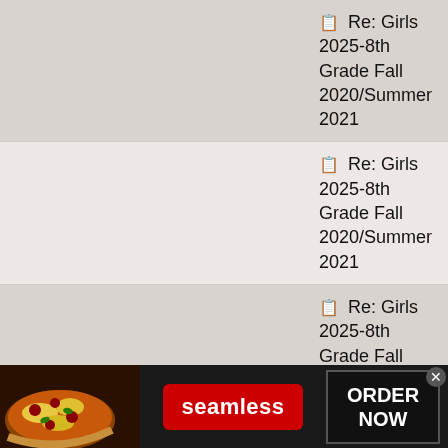|  | Topic | Author |
| --- | --- | --- |
|  | Re: Girls 2025-8th Grade Fall 2020/Summer 2021 | Anonymous |
|  | Re: Girls 2025-8th Grade Fall 2020/Summer 2021 | Anonymous |
|  | Re: Girls 2025-8th Grade Fall 2020/Summer 2021 | Anonymous |
|  | Re: Girls 2025-8th Grade Fall 2020/Summer 2021 | Anonymous |
|  | Re: Girls 2025-8th Grade Fall 2020/Summer 2021 | Anonymous |
|  | Re: Girls … | Anonymous |
[Figure (screenshot): Seamless food delivery advertisement banner at bottom of page showing pizza, Seamless logo in red, and ORDER NOW button]